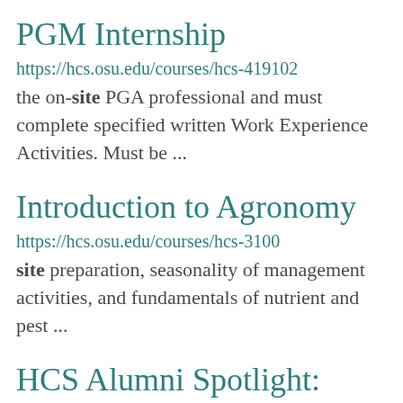PGM Internship
https://hcs.osu.edu/courses/hcs-419102
the on-site PGA professional and must complete specified written Work Experience Activities. Must be ...
Introduction to Agronomy
https://hcs.osu.edu/courses/hcs-3100
site preparation, seasonality of management activities, and fundamentals of nutrient and pest ...
HCS Alumni Spotlight: Rachael Cline